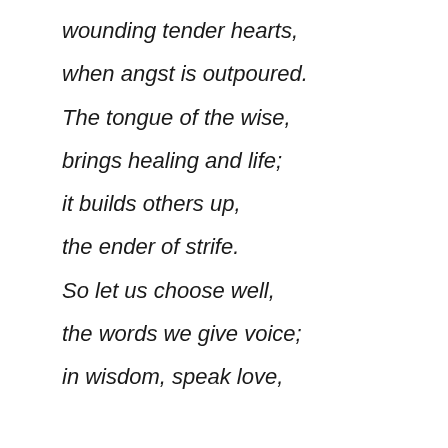wounding tender hearts,
when angst is outpoured.
The tongue of the wise,
brings healing and life;
it builds others up,
the ender of strife.
So let us choose well,
the words we give voice;
in wisdom, speak love,